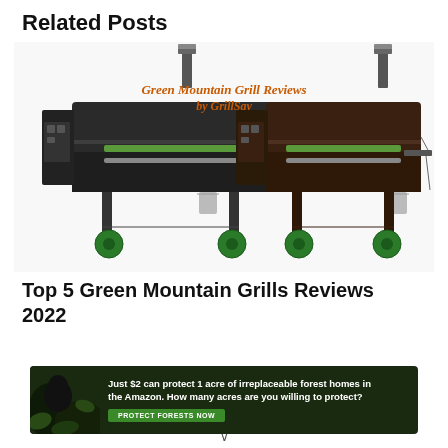Related Posts
[Figure (photo): Two Green Mountain Grills (pellet smokers) side by side with the text 'Green Mountain Grill Reviews by GrillSay' in orange script above them. Both grills are dark/black colored with green wheels, side shelves, and metal bucket accessories.]
Top 5 Green Mountain Grills Reviews 2022
[Figure (infographic): Advertisement banner with dark forest background showing a gorilla/animal, text reads: 'Just $2 can protect 1 acre of irreplaceable forest homes in the Amazon. How many acres are you willing to protect?' with a green 'PROTECT FORESTS NOW' button.]